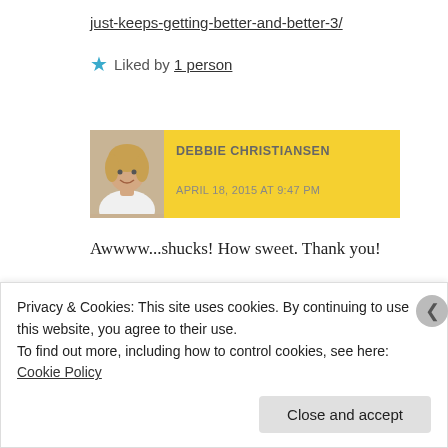just-keeps-getting-better-and-better-3/
★ Liked by 1 person
DEBBIE CHRISTIANSEN
APRIL 18, 2015 AT 9:47 PM
Awwww...shucks! How sweet. Thank you!
Privacy & Cookies: This site uses cookies. By continuing to use this website, you agree to their use.
To find out more, including how to control cookies, see here: Cookie Policy
Close and accept